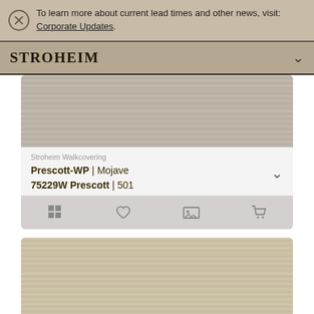To learn more about current lead times and other news, visit: Corporate Updates.
STROHEIM
[Figure (photo): Wallcovering texture swatch — grey-beige horizontal stripe textile pattern]
Stroheim Walkcovering
Prescott-WP | Mojave
75229W Prescott | 501
[Figure (photo): Wallcovering texture swatch — warm beige horizontal stripe textile pattern, lighter color]